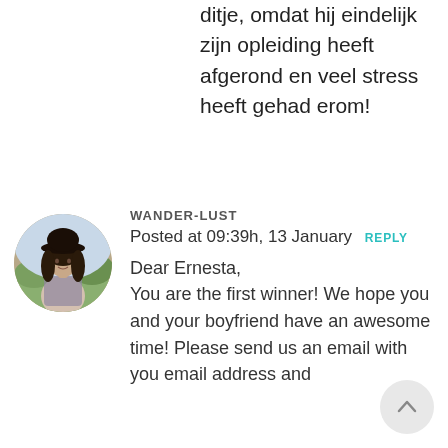ditje, omdat hij eindelijk zijn opleiding heeft afgerond en veel stress heeft gehad erom!
[Figure (photo): Circular avatar photo of a young woman wearing a black hat and patterned dress, standing outdoors]
WANDER-LUST
Posted at 09:39h, 13 January REPLY
Dear Ernesta,
You are the first winner! We hope you and your boyfriend have an awesome time! Please send us an email with you email address and